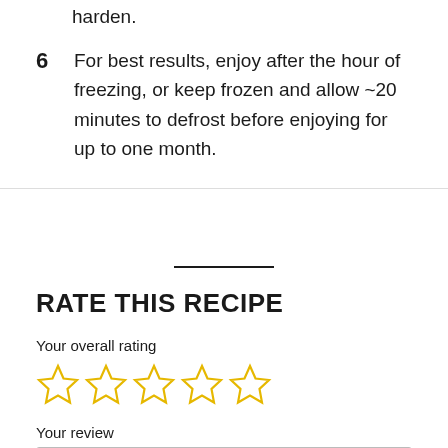harden.
6  For best results, enjoy after the hour of freezing, or keep frozen and allow ~20 minutes to defrost before enjoying for up to one month.
RATE THIS RECIPE
Your overall rating
[Figure (other): Five empty star rating icons in gold/yellow outline]
Your review
Tell people your review